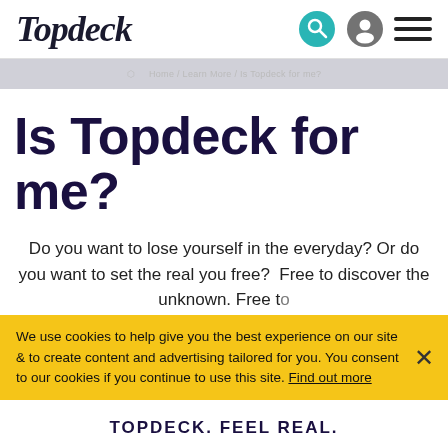Topdeck
Is Topdeck for me?
Do you want to lose yourself in the everyday? Or do you want to set the real you free?  Free to discover the unknown. Free to...e
We use cookies to help give you the best experience on our site & to create content and advertising tailored for you. You consent to our cookies if you continue to use this site. Find out more
TOPDECK. FEEL REAL.